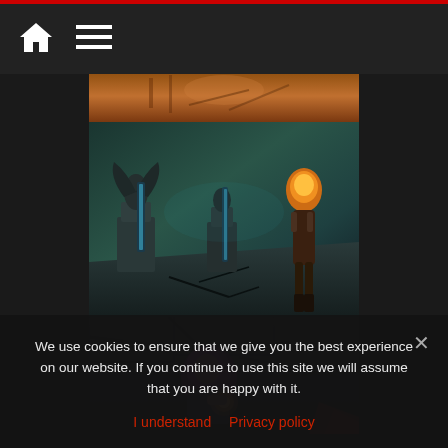Navigation bar with home icon and menu icon
[Figure (screenshot): Game screenshot showing brown/orange stone chamber at top]
[Figure (screenshot): Game screenshot showing dark stone dungeon with winged statues and a character with flaming hair standing in the middle]
[Figure (screenshot): Game screenshot showing a character with purple hair crouching on cracked stone ground holding a glowing orb]
We use cookies to ensure that we give you the best experience on our website. If you continue to use this site we will assume that you are happy with it.
I understand   Privacy policy